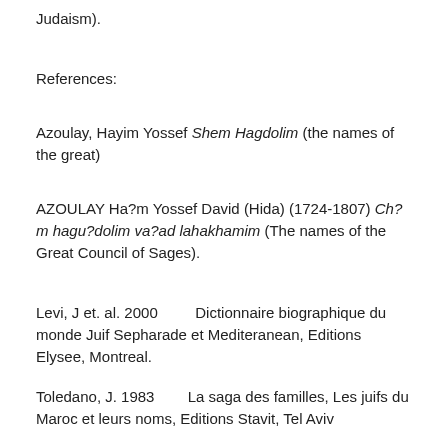Judaism).
References:
Azoulay, Hayim Yossef Shem Hagdolim (the names of the great)
AZOULAY Ha?m Yossef David (Hida) (1724-1807) Ch?m hagu?dolim va?ad lahakhamim (The names of the Great Council of Sages).
Levi, J et. al. 2000        Dictionnaire biographique du monde Juif Sepharade et Mediteranean, Editions Elysee, Montreal.
Toledano, J. 1983        La saga des familles, Les juifs du Maroc et leurs noms, Editions Stavit, Tel Aviv